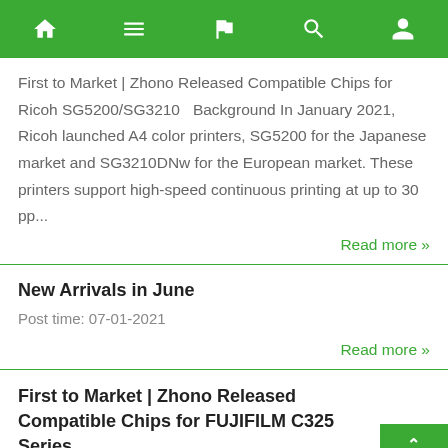Navigation bar with home, menu, flag, search, and account icons
First to Market | Zhono Released Compatible Chips for Ricoh SG5200/SG3210   Background In January 2021, Ricoh launched A4 color printers, SG5200 for the Japanese market and SG3210DNw for the European market. These printers support high-speed continuous printing at up to 30 pp...
Read more »
New Arrivals in June
Post time: 07-01-2021
Read more »
First to Market | Zhono Released Compatible Chips for FUJIFILM C325 Series
Post time: 06-01-2021